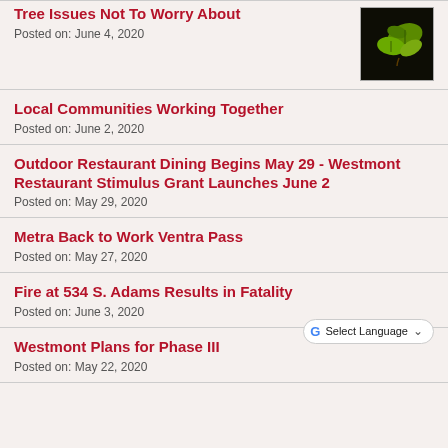Tree Issues Not To Worry About
Posted on: June 4, 2020
Local Communities Working Together
Posted on: June 2, 2020
Outdoor Restaurant Dining Begins May 29 - Westmont Restaurant Stimulus Grant Launches June 2
Posted on: May 29, 2020
Metra Back to Work Ventra Pass
Posted on: May 27, 2020
Fire at 534 S. Adams Results in Fatality
Posted on: June 3, 2020
Westmont Plans for Phase III
Posted on: May 22, 2020